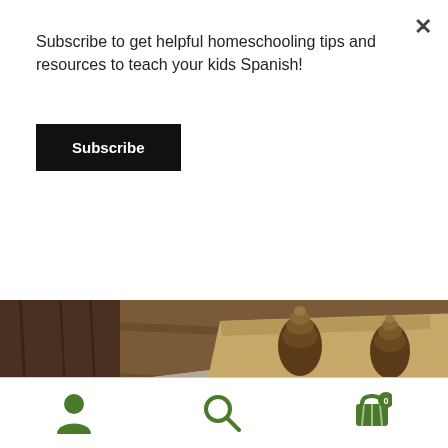Subscribe to get helpful homeschooling tips and resources to teach your kids Spanish!
Subscribe
[Figure (photo): A close-up photo of pine cones on wooden boards with a piece of cardboard, natural craft materials on a rustic wooden surface]
Every child is an artist
“Art is a place for children to learn to trust their
Account icon | Search icon | Cart icon with badge 0